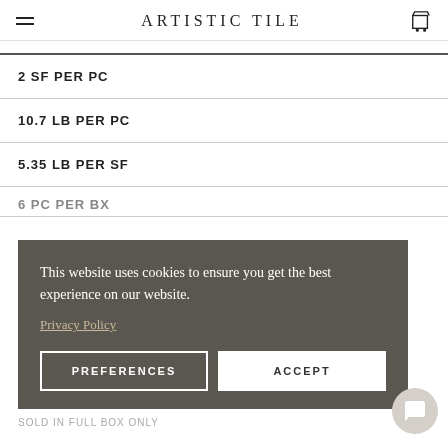ARTISTIC TILE
| 2 SF PER PC |
| 10.7 LB PER PC |
| 5.35 LB PER SF |
| 6 PC PER BX (partial) |
This website uses cookies to ensure you get the best experience on our website.
Privacy Policy
PREFERENCES  ACCEPT
SOLD IN FULL BOX ONLY